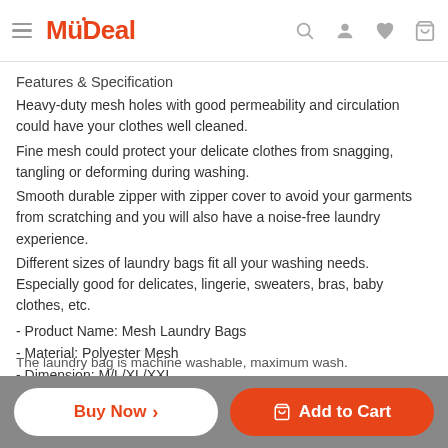MyDeal
Features & Specification
Heavy-duty mesh holes with good permeability and circulation could have your clothes well cleaned.
Fine mesh could protect your delicate clothes from snagging, tangling or deforming during washing.
Smooth durable zipper with zipper cover to avoid your garments from scratching and you will also have a noise-free laundry experience.
Different sizes of laundry bags fit all your washing needs. Especially good for delicates, lingerie, sweaters, bras, baby clothes, etc.
- Product Name: Mesh Laundry Bags
- Material: Polyester Mesh
- Dimension: M/L/XL/XXL
The laundry bag is machine washable, maximum wash.